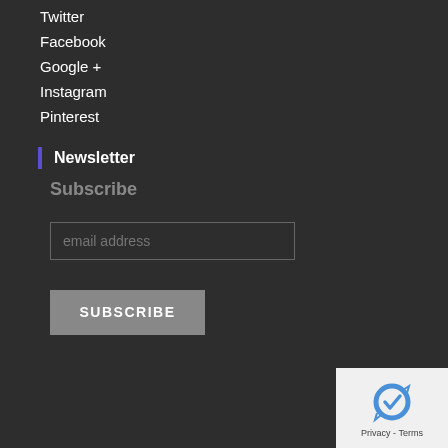Twitter
Facebook
Google +
Instagram
Pinterest
Newsletter
Subscribe
email address
SUBSCRIBE